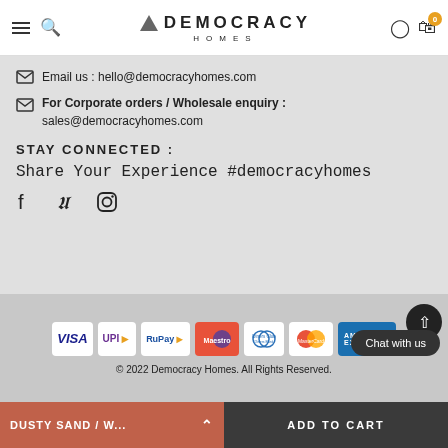[Figure (logo): Democracy Homes logo with triangle icon and navigation icons (hamburger menu, search, user, cart)]
Email us : hello@democracyhomes.com
For Corporate orders / Wholesale enquiry : sales@democracyhomes.com
STAY CONNECTED :
Share Your Experience #democracyhomes
[Figure (other): Social media icons: Facebook, Pinterest, Instagram]
[Figure (other): Payment logos: VISA, UPI, RuPay, Maestro, Diners Club, MasterCard, American Express]
© 2022 Democracy Homes. All Rights Reserved.
DUSTY SAND / W...
ADD TO CART